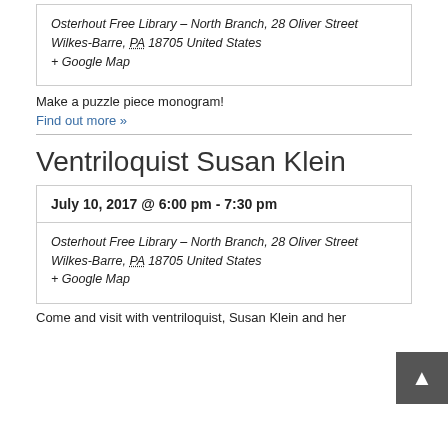Osterhout Free Library – North Branch, 28 Oliver Street
Wilkes-Barre, PA 18705 United States
+ Google Map
Make a puzzle piece monogram!
Find out more »
Ventriloquist Susan Klein
July 10, 2017 @ 6:00 pm - 7:30 pm
Osterhout Free Library – North Branch, 28 Oliver Street
Wilkes-Barre, PA 18705 United States
+ Google Map
Come and visit with ventriloquist, Susan Klein and her